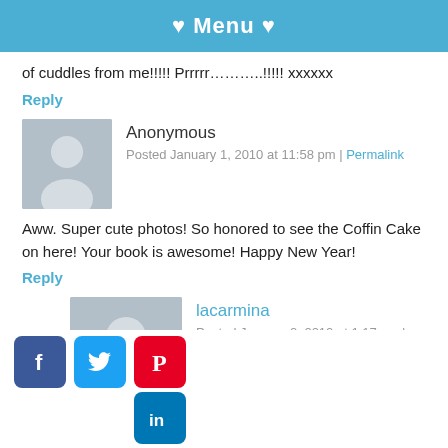♥ Menu ♥
of cuddles from me!!!!! Prrrrr………..!!!!! xxxxxx
Reply
[Figure (illustration): Anonymous user avatar placeholder (grey silhouette)]
Anonymous
Posted January 1, 2010 at 11:58 pm | Permalink
Aww. Super cute photos! So honored to see the Coffin Cake on here! Your book is awesome! Happy New Year!
Reply
[Figure (illustration): lacarmina user avatar placeholder (grey silhouette)]
lacarmina
Posted January 2, 2010 at 1:17 am | Permalink
You di... (partially visible text)
[Figure (illustration): Social media icons: Facebook, Twitter, Pinterest (top row), LinkedIn (bottom row, offset)]